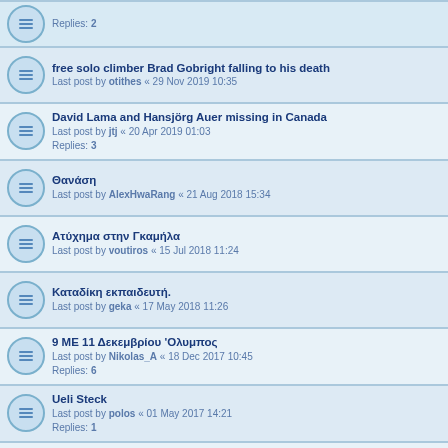Replies: 2
free solo climber Brad Gobright falling to his death
Last post by otithes « 29 Nov 2019 10:35
David Lama and Hansjörg Auer missing in Canada
Last post by jtj « 20 Apr 2019 01:03
Replies: 3
Θανάση
Last post by AlexHwaRang « 21 Aug 2018 15:34
Ατύχημα στην Γκαμήλα
Last post by voutiros « 15 Jul 2018 11:24
Καταδίκη εκπαιδευτή.
Last post by geka « 17 May 2018 11:26
9 ΜΕ 11 Δεκεμβρίου 'Ολυμπος
Last post by Nikolas_A « 18 Dec 2017 10:45
Replies: 6
Ueli Steck
Last post by polos « 01 May 2017 14:21
Replies: 1
θάνατος ορειβατη στα λευκά όρη.
Last post by geka « 14 Mar 2017 11:48
Πτώση στα Βαρδούσια
Last post by AlexHwaRang « 12 Mar 2017 20:25
Replies: 4
Παραλιγο ατυχημα.
Last post by jti « 17 Nov 2016 02:05